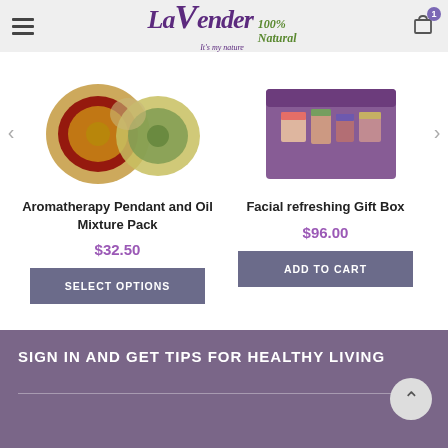Lavender It's my nature 100% Natural — navigation header with hamburger menu and cart icon (1 item)
Aromatherapy Pendant and Oil Mixture Pack
$32.50
SELECT OPTIONS
Facial refreshing Gift Box
$96.00
ADD TO CART
SIGN IN AND GET TIPS FOR HEALTHY LIVING